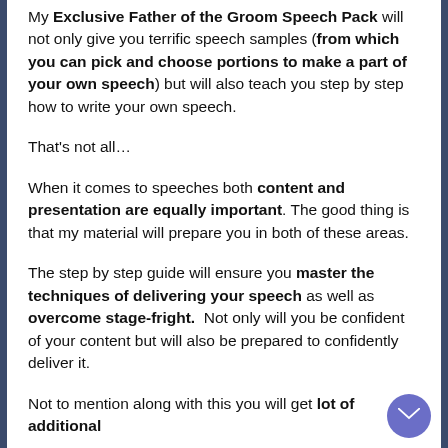My Exclusive Father of the Groom Speech Pack will not only give you terrific speech samples (from which you can pick and choose portions to make a part of your own speech) but will also teach you step by step how to write your own speech.
That's not all…
When it comes to speeches both content and presentation are equally important. The good thing is that my material will prepare you in both of these areas.
The step by step guide will ensure you master the techniques of delivering your speech as well as overcome stage-fright.  Not only will you be confident of your content but will also be prepared to confidently deliver it.
Not to mention along with this you will get lot of additional